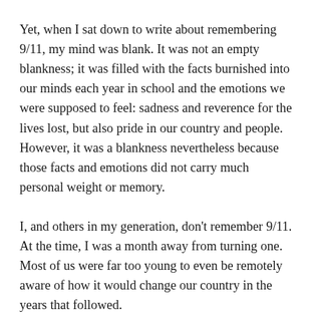Yet, when I sat down to write about remembering 9/11, my mind was blank. It was not an empty blankness; it was filled with the facts burnished into our minds each year in school and the emotions we were supposed to feel: sadness and reverence for the lives lost, but also pride in our country and people. However, it was a blankness nevertheless because those facts and emotions did not carry much personal weight or memory.
I, and others in my generation, don't remember 9/11. At the time, I was a month away from turning one. Most of us were far too young to even be remotely aware of how it would change our country in the years that followed.
So, when I sat down to write about 9/11, I found myself contemplating that blankness. All that really came to mind was a painting that I saw in the Museum of Modern Art